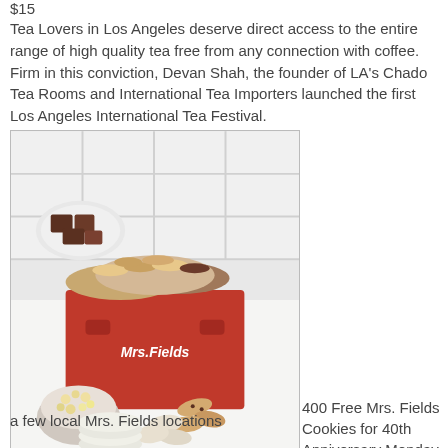$15
Tea Lovers in Los Angeles deserve direct access to the entire range of high quality tea free from any connection with coffee. Firm in this conviction, Devan Shah, the founder of LA's Chado Tea Rooms and International Tea Importers launched the first Los Angeles International Tea Festival.
[Figure (photo): A red Mrs. Fields branded wooden crate filled with an assortment of cookies, brownies, and baked goods, with additional cookies and popcorn displayed around it on a white surface against a white tile background.]
400 Free Mrs. Fields Cookies for 40th Anniversary Monday, Dec 4
a few local Mrs. Fields locations